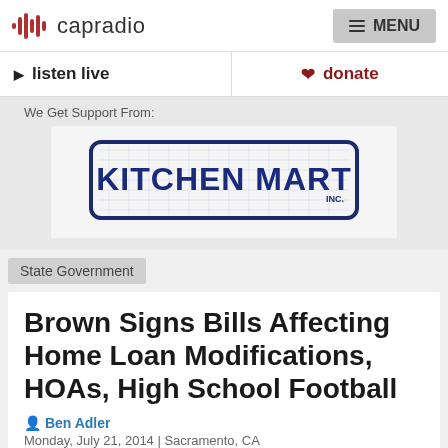capradio  MENU
listen live   donate
We Get Support From:
[Figure (logo): Kitchen Mart Inc. logo — bold blue uppercase text with a grid-patterned background inside a dark blue rounded rectangle border]
State Government
Brown Signs Bills Affecting Home Loan Modifications, HOAs, High School Football
Ben Adler
Monday, July 21, 2014 | Sacramento, CA